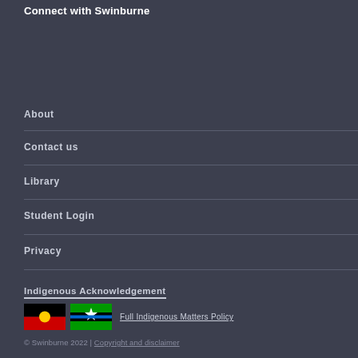Connect with Swinburne
About
Contact us
Library
Student Login
Privacy
Indigenous Acknowledgement
[Figure (illustration): Aboriginal flag and Torres Strait Islander flag side by side, followed by a link 'Full Indigenous Matters Policy']
© Swinburne 2022 | Copyright and disclaimer